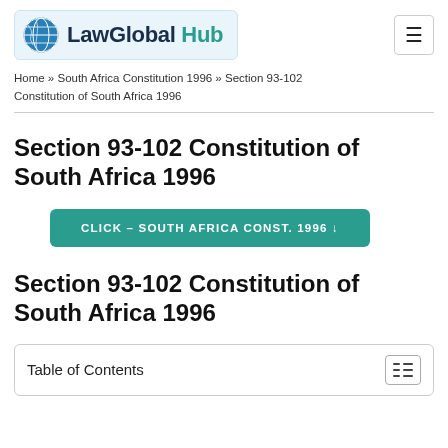LawGlobal Hub
Home » South Africa Constitution 1996 » Section 93-102 Constitution of South Africa 1996
Section 93-102 Constitution of South Africa 1996
CLICK – SOUTH AFRICA CONST. 1996 ↓
Section 93-102 Constitution of South Africa 1996
Table of Contents